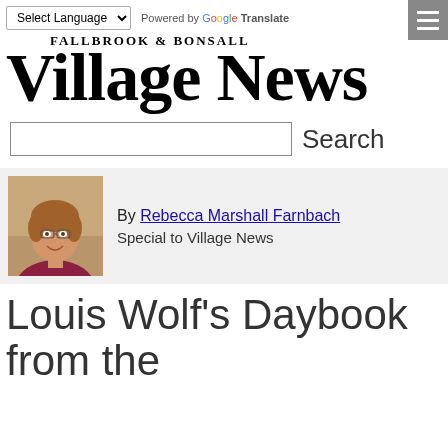Select Language | Powered by Google Translate
[Figure (logo): Fallbrook & Bonsall Village News masthead logo]
Search
[Figure (photo): Headshot of Rebecca Marshall Farnbach]
By Rebecca Marshall Farnbach
Special to Village News
Louis Wolf's Daybook from the